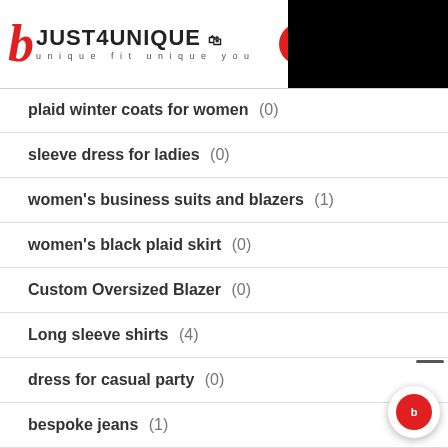[Figure (logo): Just4Unique logo with red stylized B and text 'JUST4UNIQUE unique fit unique you', red circular menu button, black rectangle on right]
plaid winter coats for women (0)
sleeve dress for ladies (0)
women's business suits and blazers (1)
women's black plaid skirt (0)
Custom Oversized Blazer (0)
Long sleeve shirts (4)
dress for casual party (0)
bespoke jeans (1)
Bespoke Jackets for Women (2)
denim jacket (0)